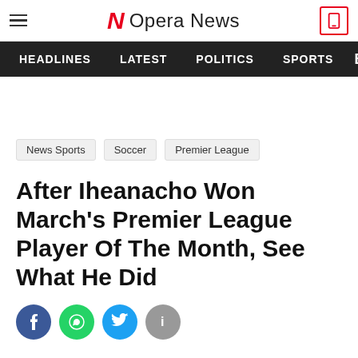Opera News
HEADLINES   LATEST   POLITICS   SPORTS
News Sports   Soccer   Premier League
After Iheanacho Won March's Premier League Player Of The Month, See What He Did
[Figure (other): Social share buttons: Facebook, WhatsApp, Twitter, Info]
[Figure (other): Red scroll/expand button with chevron down arrow]